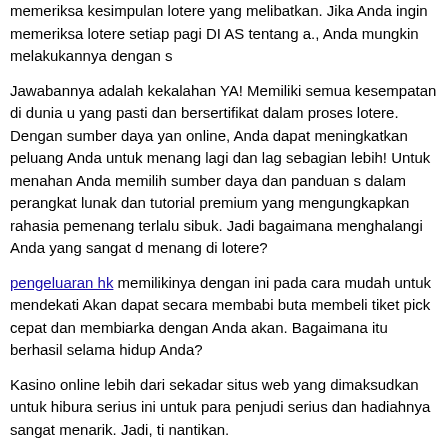memeriksa kesimpulan lotere yang melibatkan. Jika Anda ingin memeriksa lotere setiap pagi DI AS tentang a., Anda mungkin melakukannya dengan s
Jawabannya adalah kekalahan YA! Memiliki semua kesempatan di dunia u yang pasti dan bersertifikat dalam proses lotere. Dengan sumber daya yan online, Anda dapat meningkatkan peluang Anda untuk menang lagi dan lag sebagian lebih! Untuk menahan Anda memilih sumber daya dan panduan s dalam perangkat lunak dan tutorial premium yang mengungkapkan rahasia pemenang terlalu sibuk. Jadi bagaimana menghalangi Anda yang sangat d menang di lotere?
pengeluaran hk memilikinya dengan ini pada cara mudah untuk mendekati Akan dapat secara membabi buta membeli tiket pick cepat dan membiarka dengan Anda akan. Bagaimana itu berhasil selama hidup Anda?
Kasino online lebih dari sekadar situs web yang dimaksudkan untuk hibura serius ini untuk para penjudi serius dan hadiahnya sangat menarik. Jadi, ti nantikan.
Sebelum memilih nomor lotre, sebenarnya untuk menyebarkan angka ke k angka yang lebih dekat, tidak cocok untuk diputuskan. Anda harus memilih kunci di balik pendekatan lotere. Para ahli biasanya memilih karakter numer untuk bergantung pada angka-angka ini untuk hampir semua peluang tera akan dilakukan untuk bermain dengan keberuntungan Anda. Nomor acak i